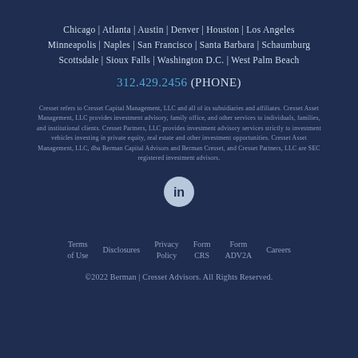Chicago | Atlanta | Austin | Denver | Houston | Los Angeles Minneapolis | Naples | San Francisco | Santa Barbara | Schaumburg Scottsdale | Sioux Falls | Washington D.C. | West Palm Beach
312.429.2456 (PHONE)
Cresset refers to Cresset Capital Management, LLC and all of its subsidiaries and affiliates. Cresset Asset Management, LLC provides investment advisory, family office, and other services to individuals, families, and institutional clients. Cresset Partners, LLC provides investment advisory services strictly to investment vehicles investing in private equity, real estate and other investment opportunities. Cresset Asset Management, LLC, dba Berman Capital Advisors and Berman Cresset, and Cresset Partners, LLC are SEC registered investment advisors.
[Figure (logo): LinkedIn icon — circular light blue/white icon with 'in' text]
Terms of Use   Disclosures   Privacy Policy   Form CRS   Form ADV2A   Careers
©2022 Berman | Cresset Advisors. All Rights Reserved.